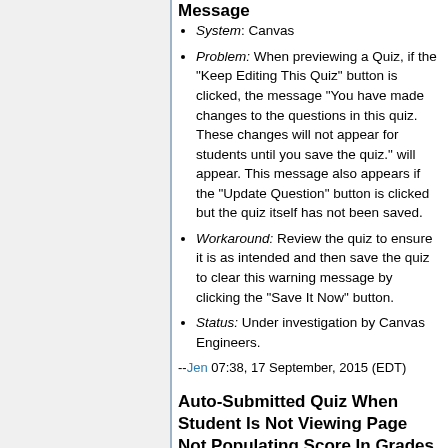Message
System: Canvas
Problem: When previewing a Quiz, if the "Keep Editing This Quiz" button is clicked, the message "You have made changes to the questions in this quiz. These changes will not appear for students until you save the quiz." will appear. This message also appears if the "Update Question" button is clicked but the quiz itself has not been saved.
Workaround: Review the quiz to ensure it is as intended and then save the quiz to clear this warning message by clicking the "Save It Now" button.
Status: Under investigation by Canvas Engineers.
--Jen 07:38, 17 September, 2015 (EDT)
Auto-Submitted Quiz When Student Is Not Viewing Page Not Populating Score In Grades